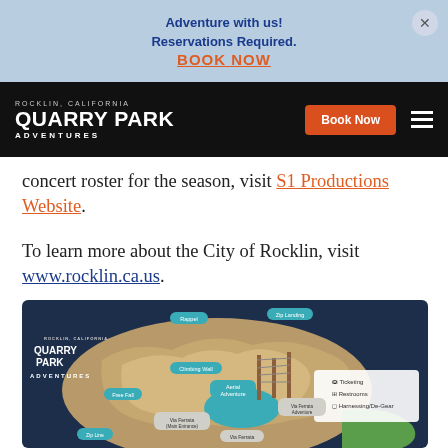Adventure with us!
Reservations Required.
BOOK NOW
[Figure (logo): Quarry Park Adventures logo on black navbar with Book Now button and hamburger menu]
concert roster for the season, visit S1 Productions Website.
To learn more about the City of Rocklin, visit www.rocklin.ca.us.
[Figure (map): Quarry Park Adventures aerial map showing Rappel, Zip Landing, Climbing Wall, Free Fall, Aerial Adventure, Via Ferrata, Via Ferrata Adventure, Zip Line, and legend with Ticketing, Restrooms, Harnessing/De-Gear]